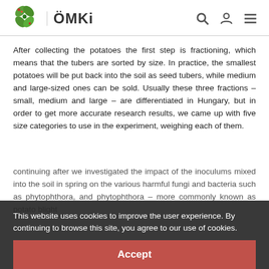[Figure (logo): ÖMKi logo with green leaf/flower icon and text ÖMKi]
After collecting the potatoes the first step is fractioning, which means that the tubers are sorted by size. In practice, the smallest potatoes will be put back into the soil as seed tubers, while medium and large-sized ones can be sold. Usually these three fractions – small, medium and large – are differentiated in Hungary, but in order to get more accurate research results, we came up with five size categories to use in the experiment, weighing each of them.
This website uses cookies to improve the user experience. By continuing to browse this site, you agree to our use of cookies.
continuing after we investigated the impact of the inoculums mixed into the soil in spring on the various harmful fungi and bacteria such as phytophthora, and phytophthora – more commonly known as potato blight...